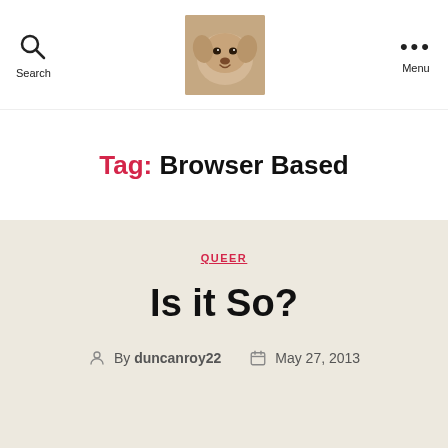Search | [dog photo] | Menu
Tag: Browser Based
QUEER
Is it So?
By duncanroy22  May 27, 2013